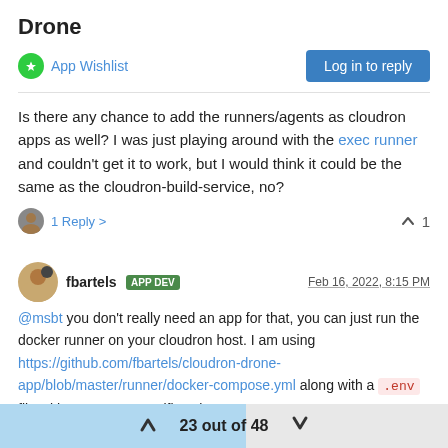Drone
App Wishlist
Log in to reply
Is there any chance to add the runners/agents as cloudron apps as well? I was just playing around with the exec runner and couldn't get it to work, but I would think it could be the same as the cloudron-build-service, no?
1 Reply >  1
fbartels APP DEV  Feb 16, 2022, 8:15 PM
@msbt you don't really need an app for that, you can just run the docker runner on your cloudron host. I am using https://github.com/fbartels/cloudron-drone-app/blob/master/runner/docker-compose.yml along with a .env file with my server specific values.
23 out of 48